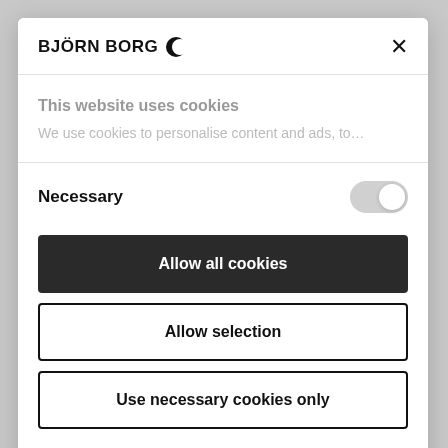BJÖRN BORG
This website uses cookies
We use cookies to personalise content and ads, to…
Necessary
Allow all cookies
Allow selection
Use necessary cookies only
August 18, 2017